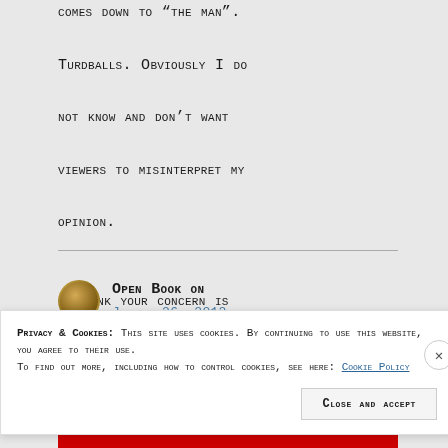comes down to “the man”. Turdballs. Obviously I do not know and don’t want viewers to misinterpret my opinion.

I think your concern is legit OB.
Open Book on January 26, 2012 at
Privacy & Cookies: This site uses cookies. By continuing to use this website, you agree to their use. To find out more, including how to control cookies, see here: Cookie Policy
Close and accept